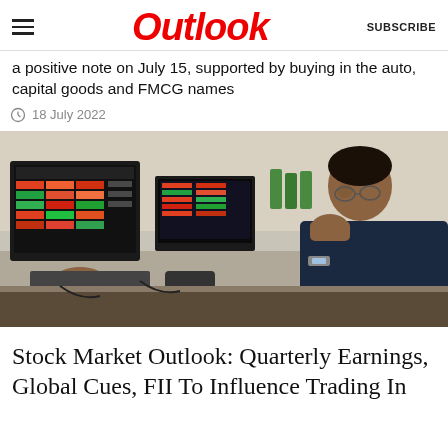Outlook
a positive note on July 15, supported by buying in the auto, capital goods and FMCG names
18 July 2022
[Figure (photo): A stock market trader sitting at a desk looking intently at multiple computer monitors displaying colorful stock trading screens with red and green data]
Stock Market Outlook: Quarterly Earnings, Global Cues, FII To Influence Trading In